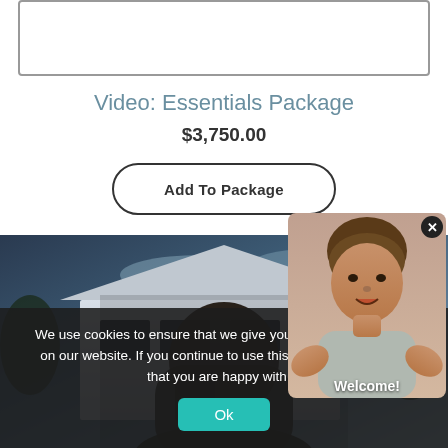[Figure (other): White rectangular box with border at top of page]
Video: Essentials Package
$3,750.00
Add To Package
[Figure (photo): Photo of a house exterior at dusk with a person in the foreground, used as background for a product listing]
We use cookies to ensure that we give you the best experience on our website. If you continue to use this site we will assume that you are happy with it.
Ok
[Figure (photo): Video chat popup of a man speaking, with Welcome! label at the bottom and an X close button]
Welcome!